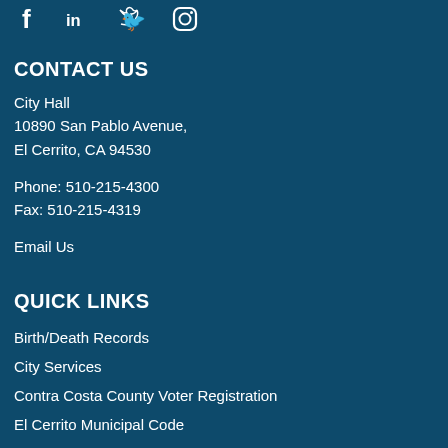[Figure (illustration): Social media icons: Facebook (f), LinkedIn (in), Twitter, Instagram]
CONTACT US
City Hall
10890 San Pablo Avenue,
El Cerrito, CA 94530
Phone: 510-215-4300
Fax: 510-215-4319
Email Us
QUICK LINKS
Birth/Death Records
City Services
Contra Costa County Voter Registration
El Cerrito Municipal Code